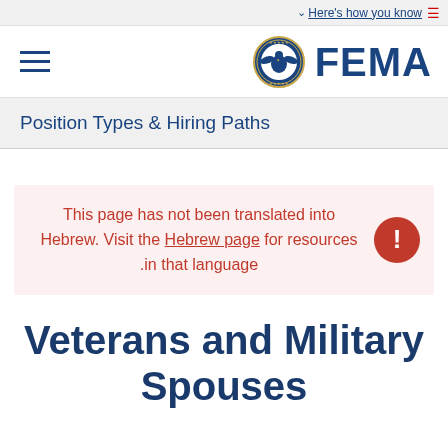Here's how you know
[Figure (logo): FEMA logo with DHS seal and hamburger menu icon]
Position Types & Hiring Paths
This page has not been translated into Hebrew. Visit the Hebrew page for resources in that language.
Veterans and Military Spouses